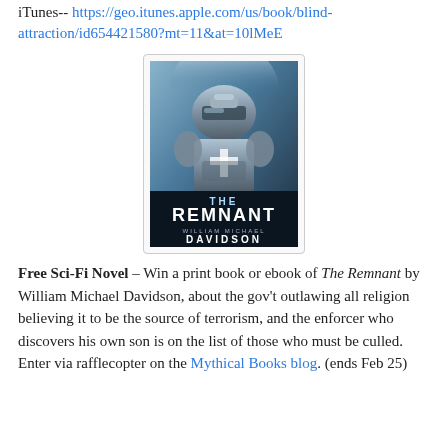iTunes-- https://geo.itunes.apple.com/us/book/blind-attraction/id654421580?mt=11&at=10lMeE
[Figure (photo): Book cover for 'The Remnant' by William Michael Davidson, showing a robotic armored figure with a cross, set against a blue/grey dramatic background.]
Free Sci-Fi Novel – Win a print book or ebook of The Remnant by William Michael Davidson, about the gov't outlawing all religion believing it to be the source of terrorism, and the enforcer who discovers his own son is on the list of those who must be culled. Enter via rafflecopter on the Mythical Books blog. (ends Feb 25)